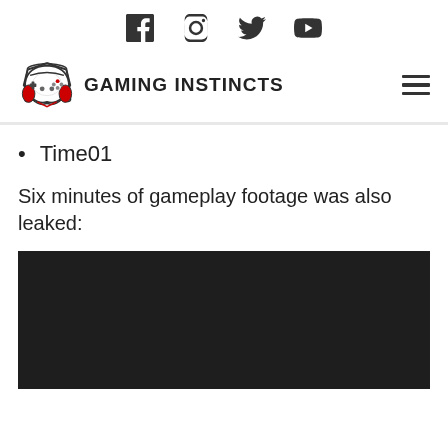Social media icons: Facebook, Instagram, Twitter, YouTube
[Figure (logo): Gaming Instincts logo with gamepad icon and text GAMING INSTINCTS]
Time01
Six minutes of gameplay footage was also leaked:
[Figure (screenshot): Dark/black video player embed area]